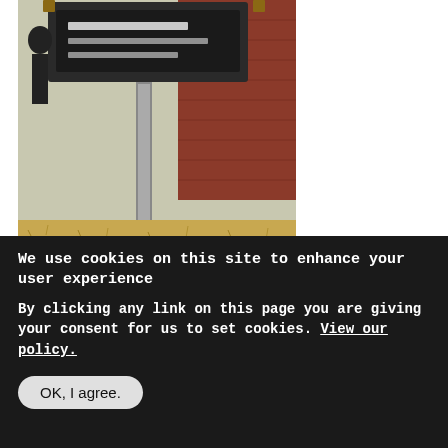[Figure (photo): Photograph of a historical landmark sign in front of a brick building with brown grass lawn. A metal pole holds a dark-framed wooden sign. The building behind has red brick walls.]
JM Miller & Brother Store
7886 LA 473 , Florien, LA, USA
This site is on the National Register of Historic Places.
We use cookies on this site to enhance your user experience
By clicking any link on this page you are giving your consent for us to set cookies. View our policy.
OK, I agree.